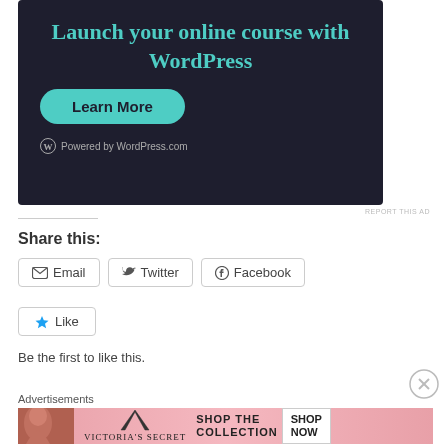[Figure (screenshot): Dark-background WordPress ad banner with teal heading 'Launch your online course with WordPress', teal rounded 'Learn More' button, and 'Powered by WordPress.com' footer text]
REPORT THIS AD
Share this:
Email
Twitter
Facebook
Like
Be the first to like this.
Advertisements
[Figure (screenshot): Victoria's Secret advertisement banner on pink gradient background with model, VS logo, 'SHOP THE COLLECTION' text, and 'SHOP NOW' white button]